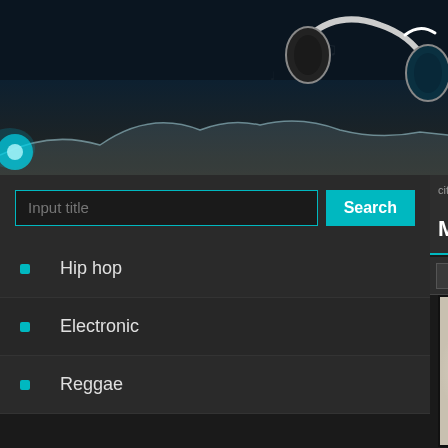[Figure (screenshot): Music website header banner with dark teal background, glowing headphones graphic on right, teal waveform/spark effect at bottom left]
Input title
Search
Hip hop
Electronic
Reggae
For children
World & Country
Classical
Jazz
Soul & Funk
Blues
cite-orientee » Electronic » Moby - Pale H
Moby - Pale Ho
Moby   Little Idiot
[Figure (photo): Album art for Moby - Pale Horses, showing pale horses text on a vinyl disc record on cream/beige background with dark shadow at bottom]